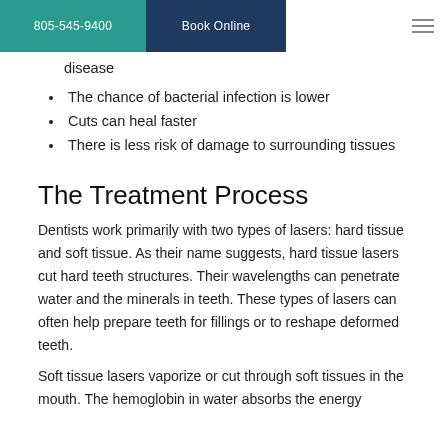805-545-9400  Book Online
disease
The chance of bacterial infection is lower
Cuts can heal faster
There is less risk of damage to surrounding tissues
The Treatment Process
Dentists work primarily with two types of lasers: hard tissue and soft tissue. As their name suggests, hard tissue lasers cut hard teeth structures. Their wavelengths can penetrate water and the minerals in teeth. These types of lasers can often help prepare teeth for fillings or to reshape deformed teeth.
Soft tissue lasers vaporize or cut through soft tissues in the mouth. The hemoglobin in water absorbs the energy